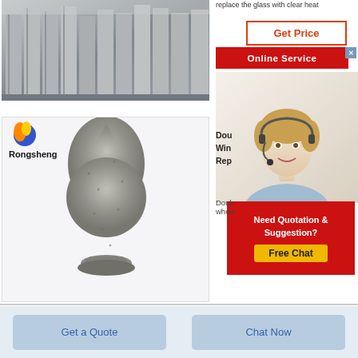replace the glass with clear heat
[Figure (photo): Photo of industrial gray panels/slabs stacked vertically in a warehouse or factory setting]
[Figure (photo): Product photo showing a gray metalite/mineral powder cone-shaped pile with Rongsheng brand logo at top left]
Dou Win Rep
Doub when
[Figure (screenshot): Get Price button with orange-red border on white background]
[Figure (screenshot): Online Service red button with close X]
[Figure (photo): Customer service agent woman wearing headset smiling]
[Figure (infographic): Need Quotation & Suggestion? Free Chat box on red background with yellow button]
Get a Quote
Chat Now